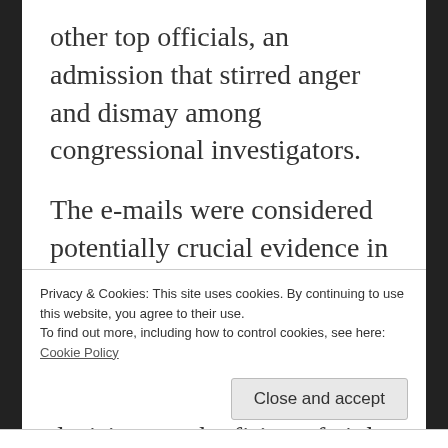other top officials, an admission that stirred anger and dismay among congressional investigators.
The e-mails were considered potentially crucial evidence in congressional inquiries launched by Democrats into the role partisan politics may have played in such policy decisions as the firing of eight U.S. attorneys.
Privacy & Cookies: This site uses cookies. By continuing to use this website, you agree to their use.
To find out more, including how to control cookies, see here: Cookie Policy
Close and accept